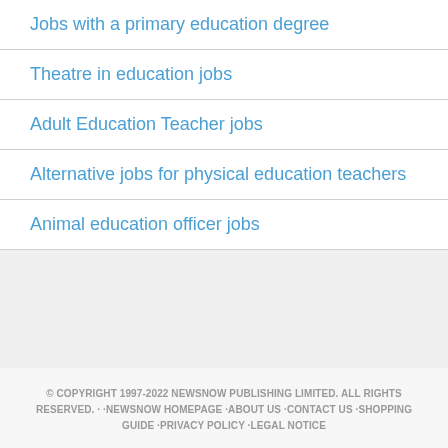Jobs with a primary education degree
Theatre in education jobs
Adult Education Teacher jobs
Alternative jobs for physical education teachers
Animal education officer jobs
© COPYRIGHT 1997-2022 NEWSNOW PUBLISHING LIMITED. ALL RIGHTS RESERVED. · ·NEWSNOW HOMEPAGE ·ABOUT US ·CONTACT US ·SHOPPING GUIDE ·PRIVACY POLICY ·LEGAL NOTICE